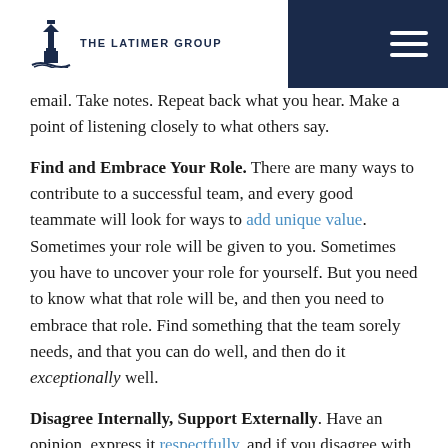THE LATIMER GROUP
email. Take notes. Repeat back what you hear. Make a point of listening closely to what others say.
Find and Embrace Your Role. There are many ways to contribute to a successful team, and every good teammate will look for ways to add unique value. Sometimes your role will be given to you. Sometimes you have to uncover your role for yourself. But you need to know what that role will be, and then you need to embrace that role. Find something that the team sorely needs, and that you can do well, and then do it exceptionally well.
Disagree Internally, Support Externally. Have an opinion, express it respectfully, and if you disagree with the path, don't be afraid to say so. But once the decision is made, get on board and do everything